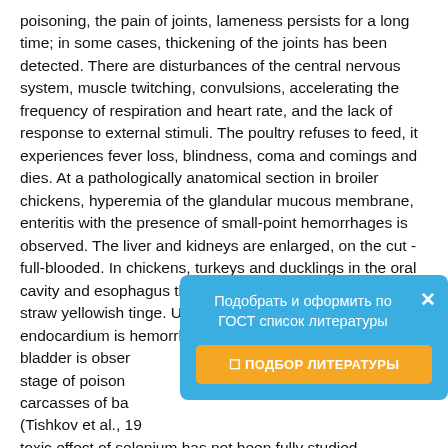poisoning, the pain of joints, lameness persists for a long time; in some cases, thickening of the joints has been detected. There are disturbances of the central nervous system, muscle twitching, convulsions, accelerating the frequency of respiration and heart rate, and the lack of response to external stimuli. The poultry refuses to feed, it experiences fever loss, blindness, coma and comings and dies. At a pathologically anatomical section in broiler chickens, hyperemia of the glandular mucous membrane, enteritis with the presence of small-point hemorrhages is observed. The liver and kidneys are enlarged, on the cut - full-blooded. In chickens, turkeys and ducklings in the oral cavity and esophagus there is a thick, foamy liquid with a straw yellowish tinge. Under the epicardium and the endocardium is hemorrhage. In t... bladder is obser... stage of poison... carcasses of ba... (Tishkov et al., 19... toxic effect of selenium has not been fully studied, although it has been found that its compounds
[Figure (other): Popup overlay in Russian: 'Подобрать и оформить по ГОСТ список литературы' with a button 'ПОДБОР ЛИТЕРАТУРЫ' on a blue background with an X close button.]